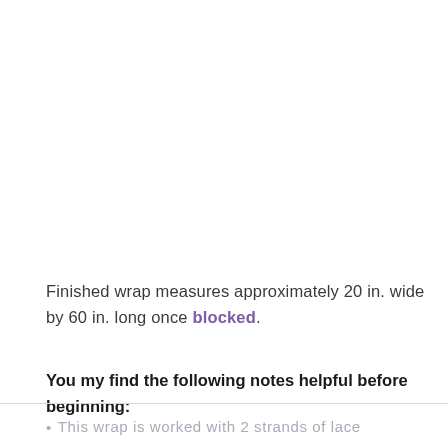Finished wrap measures approximately 20 in. wide by 60 in. long once blocked.
You my find the following notes helpful before beginning:
This wrap is worked with 2 strands of lace